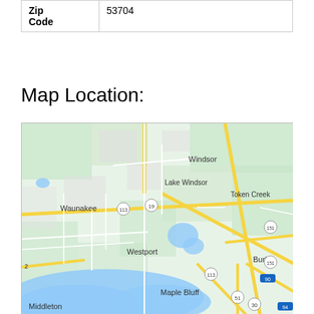| Zip Code | 53704 |
Map Location:
[Figure (map): Google Maps view showing the Madison, Wisconsin area including Waunakee, Windsor, Lake Windsor, Token Creek, Westport, Maple Bluff, Burke, and Middleton. Roads including routes 113, 19, 151, 90, 51, 30, 94 are visible. Lake Mendota appears in the lower portion of the map.]